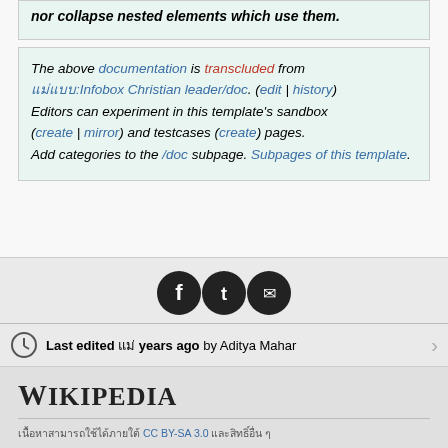nor collapse nested elements which use them.
The above documentation is transcluded from แม่แบบ:Infobox Christian leader/doc. (edit | history)
Editors can experiment in this template's sandbox
(create | mirror) and testcases (create) pages.
Add categories to the /doc subpage. Subpages of this template.
[Figure (infographic): Social media icons: Facebook, Twitter, Email]
Last edited แม่ years ago by Aditya Mahar
Wikipedia
เนื้อหาสามารถใช้ได้ภายใต้ CC BY-SA 3.0 และสิทธิ์อื่น ๆ